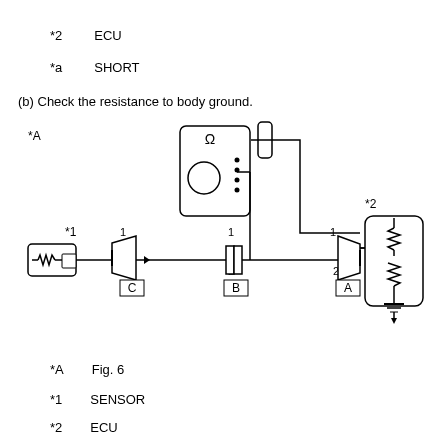*2    ECU
*a    SHORT
(b) Check the resistance to body ground.
[Figure (schematic): Wiring diagram showing resistance to body ground check. A multimeter (*A) is connected via wires to connectors A, B, C. Connector C connects to sensor (*1), connector A connects to ECU (*2) with resistor symbol. Numbers 1 and 2 label the connector pins. Ground symbol at bottom of ECU.]
*A    Fig. 6
*1    SENSOR
*2    ECU